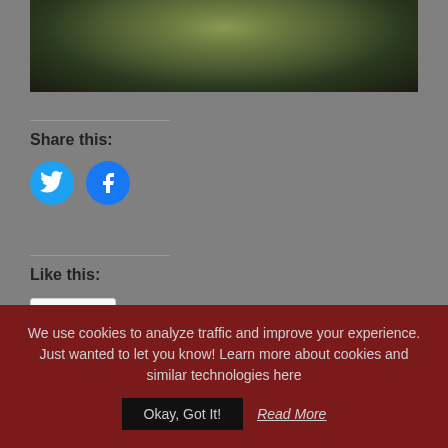[Figure (photo): Close-up photo of a green fruit (appears to be a lime or green apple) against a dark background, partially cropped at top]
Share this:
[Figure (other): Twitter share button - blue circle with bird icon]
[Figure (other): Facebook share button - blue circle with f icon]
Like this:
[Figure (other): Like button widget with star icon and Like text in a bordered box]
Be the first to like this.
We use cookies to analyze traffic and improve your experience. Just wanted to let you know! Learn more about cookies and similar technologies here
Okay, Got It!
Read More